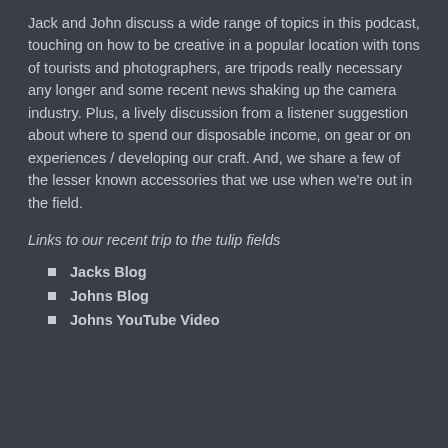Jack and John discuss a wide range of topics in this podcast, touching on how to be creative in a popular location with tons of tourists and photographers, are tripods really necessary any longer and some recent news shaking up the camera industry. Plus, a lively discussion from a listener suggestion about where to spend our disposable income, on gear or on experiences / developing our craft. And, we share a few of the lesser known accessories that we use when we're out in the field.
Links to our recent trip to the tulip fields
Jacks Blog
Johns Blog
Johns YouTube Video